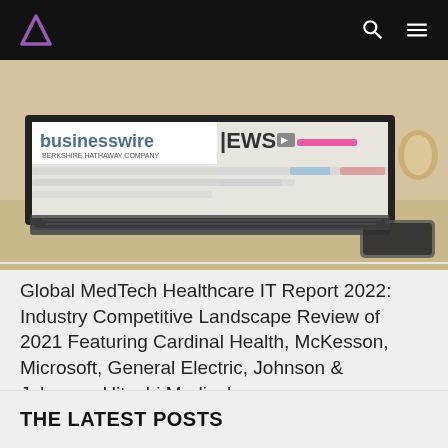Navigation bar with logo, search and menu icons
[Figure (photo): Photo of a laptop on a desk showing BusinessWire (Berkshire Hathaway Company) and a news website with blurred content. A glass hourglass and phone are visible in the background.]
Global MedTech Healthcare IT Report 2022: Industry Competitive Landscape Review of 2021 Featuring Cardinal Health, McKesson, Microsoft, General Electric, Johnson & Johnson, Hitachi Medical – ResearchAndMarkets.com
THE LATEST POSTS